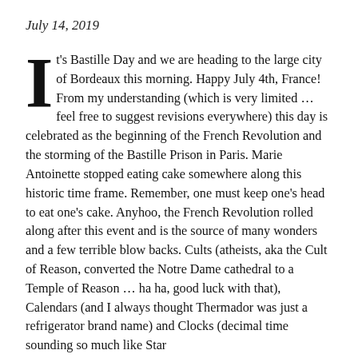July 14, 2019
It's Bastille Day and we are heading to the large city of Bordeaux this morning. Happy July 4th, France! From my understanding (which is very limited … feel free to suggest revisions everywhere) this day is celebrated as the beginning of the French Revolution and the storming of the Bastille Prison in Paris. Marie Antoinette stopped eating cake somewhere along this historic time frame. Remember, one must keep one's head to eat one's cake. Anyhoo, the French Revolution rolled along after this event and is the source of many wonders and a few terrible blow backs. Cults (atheists, aka the Cult of Reason, converted the Notre Dame cathedral to a Temple of Reason … ha ha, good luck with that), Calendars (and I always thought Thermador was just a refrigerator brand name) and Clocks (decimal time sounding so much like Star